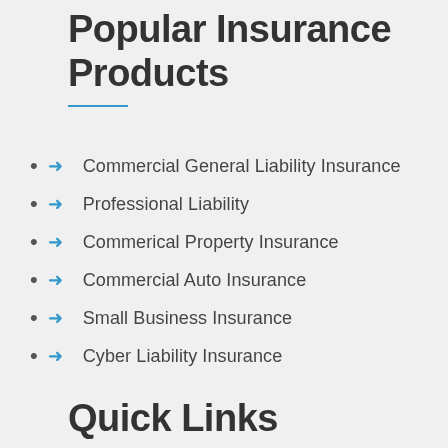Popular Insurance Products
Commercial General Liability Insurance
Professional Liability
Commerical Property Insurance
Commercial Auto Insurance
Small Business Insurance
Cyber Liability Insurance
Quick Links